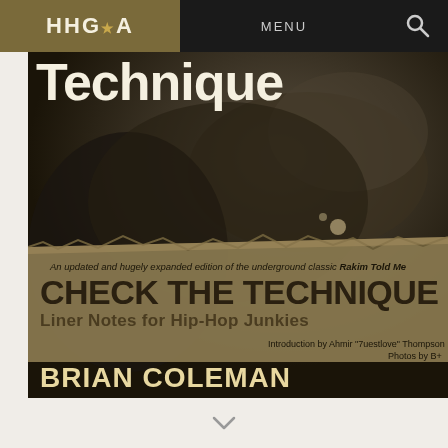HHGA  MENU
Technique
[Figure (photo): Book cover of 'Check the Technique: Liner Notes for Hip-Hop Junkies' by Brian Coleman. Dark moody background with torn paper effect revealing text. An updated and hugely expanded edition of the underground classic Rakim Told Me. CHECK THE TECHNIQUE Liner Notes for Hip-Hop Junkies. Introduction by Ahmir '7uestlove' Thompson. Photos by B+. BRIAN COLEMAN.]